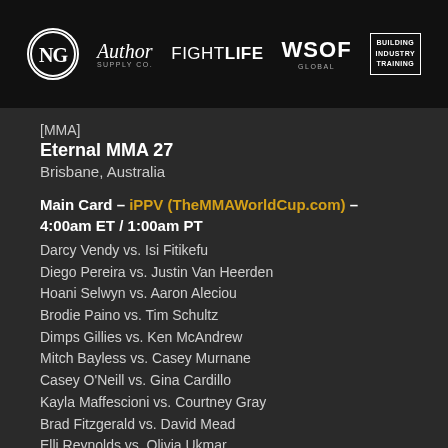[Figure (logo): Banner with sponsor logos: NG (circular logo), Author Supply Co., FIGHTLIFE, WSOF Global, Building Industry Training]
[MMA]
Eternal MMA 27
Brisbane, Australia
Main Card – iPPV (TheMMAWorldCup.com) – 4:00am ET / 1:00am PT
Darcy Vendy vs. Isi Fitikefu
Diego Pereira vs. Justin Van Heerden
Hoani Selwyn vs. Aaron Aleciou
Brodie Paino vs. Tim Schultz
Dimps Gillies vs. Ken McAndrew
Mitch Bayless vs. Casey Murnane
Casey O'Neill vs. Gina Cardillo
Kayla Maffescioni vs. Courtney Gray
Brad Fitzgerald vs. David Mead
Elli Reynolds vs. Olivia Ukmar